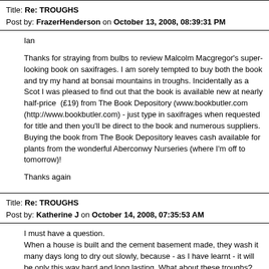Title: Re: TROUGHS
Post by: FrazerHenderson on October 13, 2008, 08:39:31 PM
Ian

Thanks for straying from bulbs to review Malcolm Macgregor's super-looking book on saxifrages. I am sorely tempted to buy both the book and try my hand at bonsai mountains in troughs. Incidentally as a Scot I was pleased to find out that the book is available new at nearly half-price  (£19) from The Book Depository (www.bookbutler.com (http://www.bookbutler.com) - just type in saxifrages when requested for title and then you'll be direct to the book and numerous suppliers. Buying the book from The Book Depository leaves cash available for plants from the wonderful Aberconwy Nurseries (where I'm off to tomorrow)!

Thanks again
Title: Re: TROUGHS
Post by: Katherine J on October 14, 2008, 07:35:53 AM
I must have a question.
When a house is built and the cement basement made, they wash it many days long to dry out slowly, because - as I have learnt - it will be only this way hard and long lasting. What about these troughs?